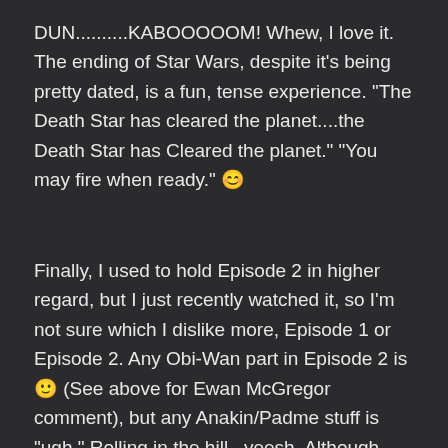DUN..........KABOOOOOM! Whew, I love it. The ending of Star Wars, despite it's being pretty dated, is a fun, tense experience. "The Death Star has cleared the planet....the Death Star has Cleared the planet." "You may fire when ready." 😊
Finally, I used to hold Episode 2 in higher regard, but I just recently watched it, so I'm not sure which I dislike more, Episode 1 or Episode 2. Any Obi-Wan part in Episode 2 is 🙂 (See above for Ewan McGregor comment), but any Anakin/Padme stuff is "ugh." Rolling in the hill...yeesh. Although once they're on Genosis, things are better and for the most part I don't mind the